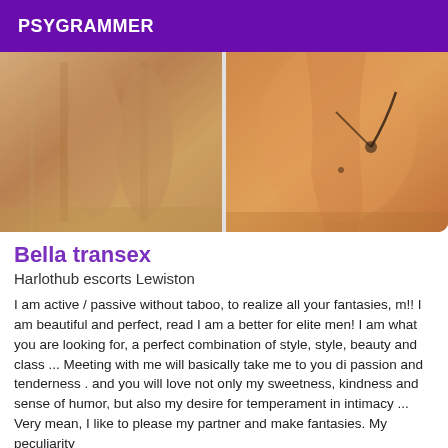PSYGRAMMER
[Figure (photo): Two side-by-side photos: left shows legs/lower body, right shows torso/neckline close-up with warm skin tones]
Bella transex
Harlothub escorts Lewiston
I am active / passive without taboo, to realize all your fantasies, m!! I am beautiful and perfect, read I am a better for elite men! I am what you are looking for, a perfect combination of style, style, beauty and class ... Meeting with me will basically take me to you di passion and tenderness . and you will love not only my sweetness, kindness and sense of humor, but also my desire for temperament in intimacy ... Very mean, I like to please my partner and make fantasies. My peculiarity